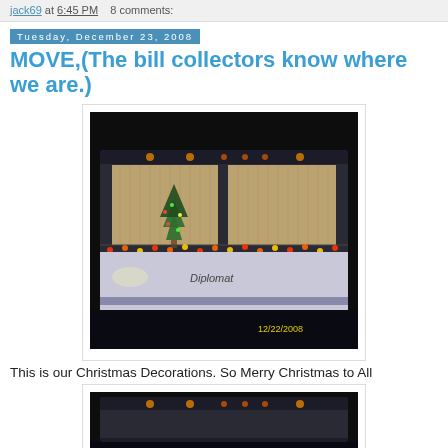jack69 at 6:45 PM    8 comments:
Tuesday, December 23, 2008
MOVE,(The bill collectors know where we are.)
[Figure (photo): Night-time photo of the rear of an RV/motorhome with Christmas lights and a small Christmas tree visible through the back window. Date stamp reads 12/22/2008.]
This is our Christmas Decorations. So Merry Christmas to All
[Figure (photo): Second night-time photo of the top/rear of the RV motorhome with orange marker lights visible.]